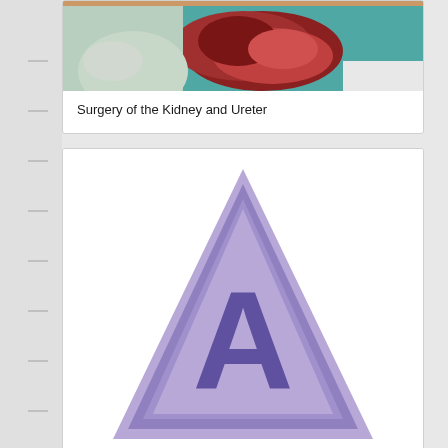[Figure (photo): Partial surgical photo showing kidney/ureter surgery, partially cropped at top of page]
Surgery of the Kidney and Ureter
[Figure (logo): Purple triangle logo with letter A in the center]
Surgery of the Extrahepatic Biliary System
[Figure (logo): Green spiral/swirl circular logo, partially visible at bottom of page]